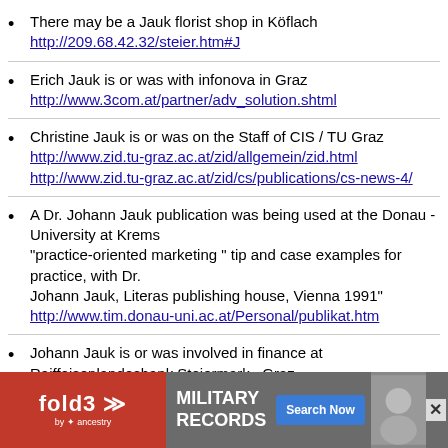There may be a Jauk florist shop in Köflach http://209.68.42.32/steier.htm#J
Erich Jauk is or was with infonova in Graz http://www.3com.at/partner/adv_solution.shtml
Christine Jauk is or was on the Staff of CIS / TU Graz http://www.zid.tu-graz.ac.at/zid/allgemein/zid.html http://www.zid.tu-graz.ac.at/zid/cs/publications/cs-news-4/
A Dr. Johann Jauk publication was being used at the Donau - University at Krems "practice-oriented marketing " tip and case examples for practice, with Dr. Johann Jauk, Literas publishing house, Vienna 1991" http://www.tim.donau-uni.ac.at/Personal/publikat.htm
Johann Jauk is or was involved in finance at Raiffeisenlandesbank Steiermark –Graz http://www.raiffeisen.at/rlbstmk/rbg/allg.htm
Dr. ... 1997 http...ergebnisse
[Figure (infographic): fold3 by Ancestry advertisement banner for Military Records with Search Now button]